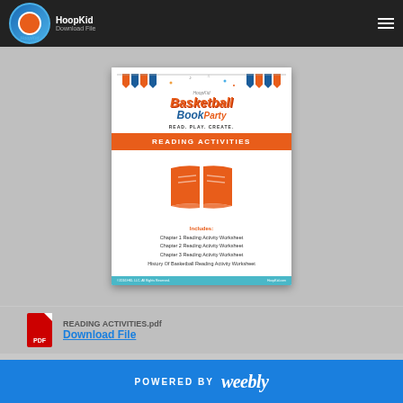HoopKid - Download File
[Figure (illustration): Basketball Book Party Reading Activities worksheet preview card showing HoopKid logo, basketball and book icons, orange 'READING ACTIVITIES' banner, open book icon, list of included worksheets, and teal footer bar.]
READING ACTIVITIES.pdf
Download File
POWERED BY Weebly